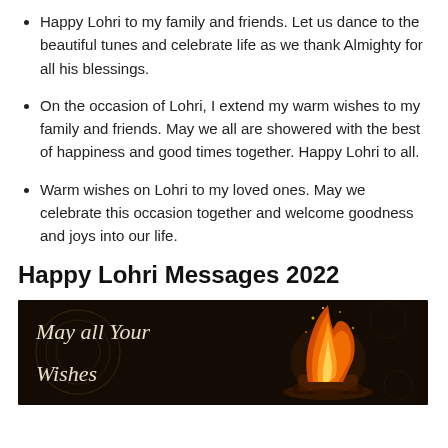Happy Lohri to my family and friends. Let us dance to the beautiful tunes and celebrate life as we thank Almighty for all his blessings.
On the occasion of Lohri, I extend my warm wishes to my family and friends. May we all are showered with the best of happiness and good times together. Happy Lohri to all.
Warm wishes on Lohri to my loved ones. May we celebrate this occasion together and welcome goodness and joys into our life.
Happy Lohri Messages 2022
[Figure (photo): Dark background greeting card image with decorative floral patterns, text reading 'May all Your Wishes' in italic script on the left, and a large bonfire with orange and yellow flames on the right.]